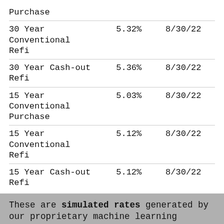| Purchase |  |  |
| 30 Year Conventional Refi | 5.32% | 8/30/22 |
| 30 Year Cash-out Refi | 5.36% | 8/30/22 |
| 15 Year Conventional Purchase | 5.03% | 8/30/22 |
| 15 Year Conventional Refi | 5.12% | 8/30/22 |
| 15 Year Cash-out Refi | 5.12% | 8/30/22 |
These are simulated rates generated by our proprietary machine learning models. These are not guaranteed by the